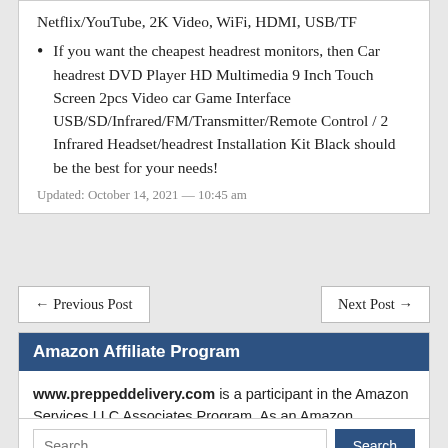Netflix/YouTube, 2K Video, WiFi, HDMI, USB/TF
If you want the cheapest headrest monitors, then Car headrest DVD Player HD Multimedia 9 Inch Touch Screen 2pcs Video car Game Interface USB/SD/Infrared/FM/Transmitter/Remote Control / 2 Infrared Headset/headrest Installation Kit Black should be the best for your needs!
Updated: October 14, 2021 — 10:45 am
← Previous Post
Next Post →
Amazon Affiliate Program
www.preppeddelivery.com is a participant in the Amazon Services LLC Associates Program. As an Amazon Associate, I earn from qualifying purchases by linking to Amazon.com and affiliated sites.
Search …